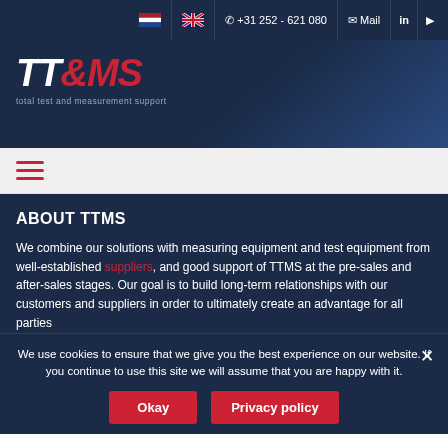+31 252 - 621 080 | Mail
[Figure (logo): TT&MS logo with text 'total test and measurement support']
ABOUT TTMS
We combine our solutions with measuring equipment and test equipment from well-established suppliers, and good support of TTMS at the pre-sales and after-sales stages. Our goal is to build long-term relationships with our customers and suppliers in order to ultimately create an advantage for all parties
We use cookies to ensure that we give you the best experience on our website. If you continue to use this site we will assume that you are happy with it.